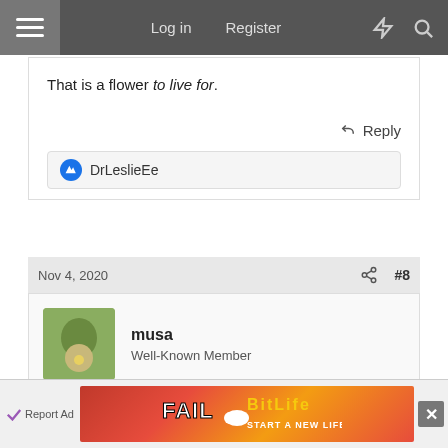Log in   Register
That is a flower to live for.
Reply
DrLeslieEe
Nov 4, 2020   #8
musa
Well-Known Member
You have a beautiful and impressive terrarium! Well done.
Report Ad